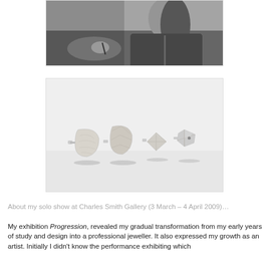[Figure (photo): Black and white photograph of a person working at a jewellery bench, holding a tool, with long hair, wearing a jacket.]
[Figure (photo): Photograph of four silver jewellery pieces (cufflinks/brooches) arranged in a row on a light grey background, showing a progression from organic rounded forms to more geometric folded shapes.]
About my solo show at Charles Smith Gallery (3 March – 4 April 2009)…
My exhibition Progression, revealed my gradual transformation from my early years of study and design into a professional jeweller. It also expressed my growth as an artist. Initially I didn't know the performance exhibiting which